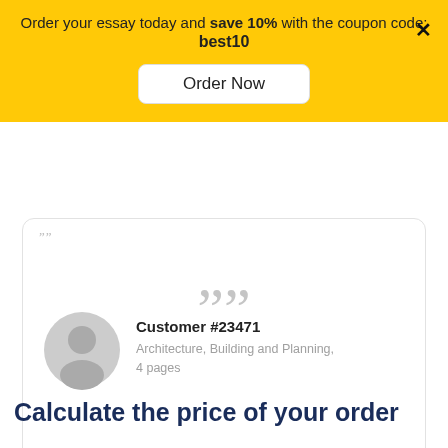Order your essay today and save 10% with the coupon code: best10
Order Now
[Figure (illustration): Testimonial speech bubble card with large closing quotation mark in grey, open quote marks at top left, white background with light border and rounded corners]
[Figure (illustration): Grey avatar/profile circle icon representing a generic user]
Customer #23471
Architecture, Building and Planning, 4 pages
Calculate the price of your order